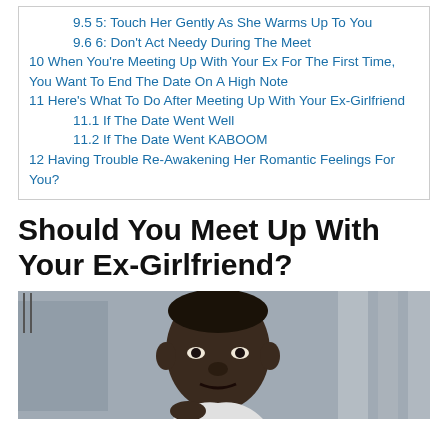9.5 5: Touch Her Gently As She Warms Up To You
9.6 6: Don't Act Needy During The Meet
10 When You're Meeting Up With Your Ex For The First Time, You Want To End The Date On A High Note
11 Here's What To Do After Meeting Up With Your Ex-Girlfriend
11.1 If The Date Went Well
11.2 If The Date Went KABOOM
12 Having Trouble Re-Awakening Her Romantic Feelings For You?
Should You Meet Up With Your Ex-Girlfriend?
[Figure (photo): Photo of a man's face in an outdoor or urban setting, cropped at top of page section]